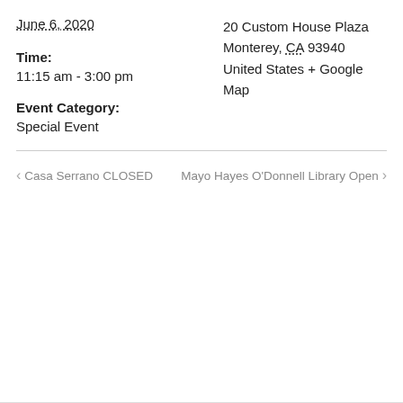June 6, 2020
20 Custom House Plaza
Monterey, CA 93940
United States + Google Map
Time:
11:15 am - 3:00 pm
Event Category:
Special Event
‹ Casa Serrano CLOSED
Mayo Hayes O'Donnell Library Open ›